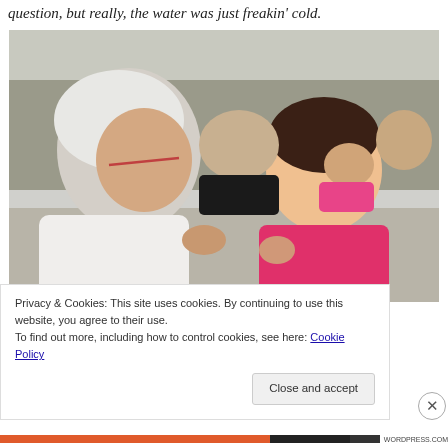question, but really, the water was just freakin' cold.
[Figure (photo): An elderly woman with white hair and glasses leans toward a laughing young Asian girl in a pink shirt. They appear to be on a boat or ferry with other passengers visible in the background.]
Privacy & Cookies: This site uses cookies. By continuing to use this website, you agree to their use.
To find out more, including how to control cookies, see here: Cookie Policy